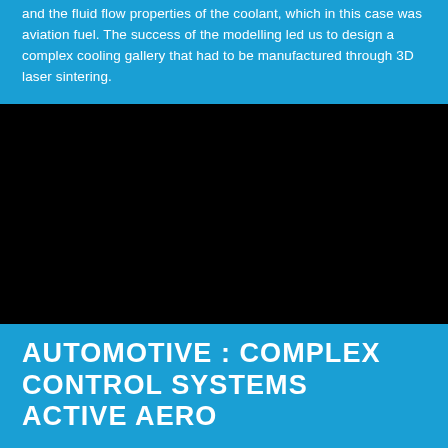and the fluid flow properties of the coolant, which in this case was aviation fuel. The success of the modelling led us to design a complex cooling gallery that had to be manufactured through 3D laser sintering.
[Figure (photo): Black/dark photograph, content not visible]
AUTOMOTIVE : COMPLEX CONTROL SYSTEMS ACTIVE AERO
We developed the electro-hydraulic control system for the most sophisticated active aero system on any road car. The forces of up to